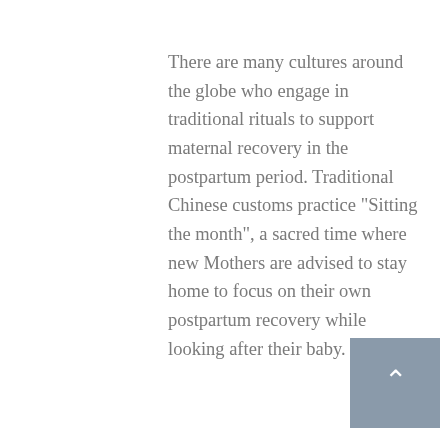There are many cultures around the globe who engage in traditional rituals to support maternal recovery in the postpartum period. Traditional Chinese customs practice "Sitting the month", a sacred time where new Mothers are advised to stay home to focus on their own postpartum recovery while looking after their baby.
In modern day society, new parents can have the pressure of entertaining family and friends who want to meet their newborn baby. New Mothers may benefit from saying 'yes' to help when offered, taking periods of rest, and allowing themselves to be “mothered” during this transition period.